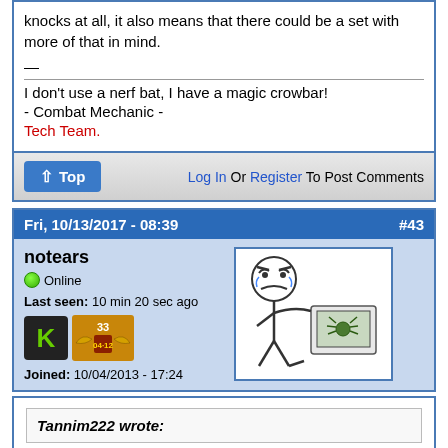knocks at all, it also means that there could be a set with more of that in mind.
I don't use a nerf bat, I have a magic crowbar!
- Combat Mechanic -
Tech Team.
↑ Top   Log In Or Register To Post Comments
Fri, 10/13/2017 - 08:39   #43
notears
Online
Last seen: 10 min 20 sec ago
Joined: 10/04/2013 - 17:24
[Figure (illustration): Stick figure rage comic meme kicking a computer]
Tannim222 wrote: